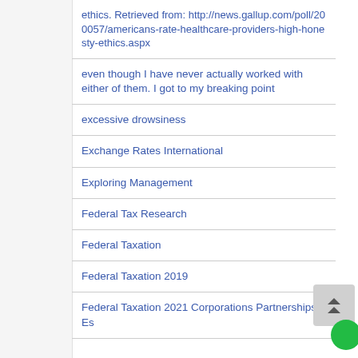ethics. Retrieved from: http://news.gallup.com/poll/200057/americans-rate-healthcare-providers-high-honesty-ethics.aspx
even though I have never actually worked with either of them. I got to my breaking point
excessive drowsiness
Exchange Rates International
Exploring Management
Federal Tax Research
Federal Taxation
Federal Taxation 2019
Federal Taxation 2021 Corporations Partnerships Es